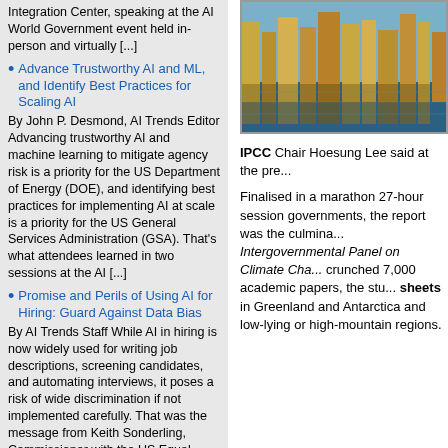Advance Trustworthy AI and ML, and Identify Best Practices for Scaling AI — By John P. Desmond, AI Trends Editor   Advancing trustworthy AI and machine learning to mitigate agency risk is a priority for the US Department of Energy (DOE), and identifying best practices for implementing AI at scale is a priority for the US General Services Administration (GSA).   That's what attendees learned in two sessions at the AI [...]
Promise and Perils of Using AI for Hiring: Guard Against Data Bias — By AI Trends Staff   While AI in hiring is now widely used for writing job descriptions, screening candidates, and automating interviews, it poses a risk of wide discrimination if not implemented carefully.  That was the message from Keith Sonderling, Commissioner with the US Equal Opportunity Commision, speaking at the AI World Government event held live and virtually in [...]
Predictive Maintenance Proving Out as Successful AI Use Case — By John P. Desmond, AI Trends Editor   More companies are successfully exploiting predictive maintenance systems that combine
[Figure (photo): Aerial or elevated photo of city buildings near water, with gold/bronze colored skyscrapers reflected in blue water]
IPCC Chair Hoesung Lee said at the pre...
Finalised in a marathon 27-hour session governments, the report was the culmina... Intergovernmental Panel on Climate Cha... crunched 7,000 academic papers, the stu... sheets in Greenland and Antarctica and low-lying or high-mountain regions.